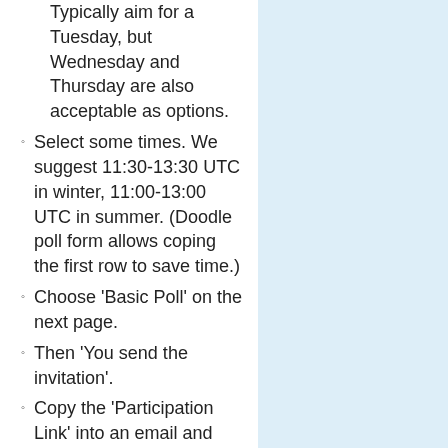Typically aim for a Tuesday, but Wednesday and Thursday are also acceptable as options.
Select some times. We suggest 11:30-13:30 UTC in winter, 11:00-13:00 UTC in summer. (Doodle poll form allows coping the first row to save time.)
Choose 'Basic Poll' on the next page.
Then 'You send the invitation'.
Copy the 'Participation Link' into an email and